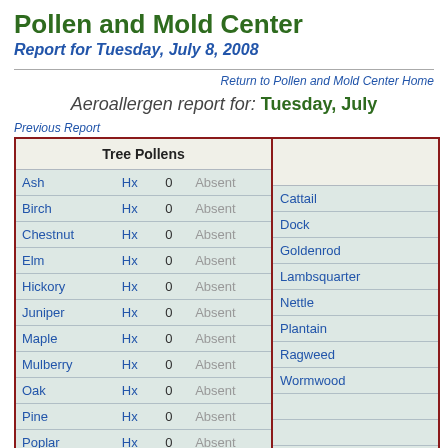Pollen and Mold Center
Report for Tuesday, July 8, 2008
Return to Pollen and Mold Center Home
Aeroallergen report for: Tuesday, July
Previous Report
|  | Tree Pollens |  |  |
| --- | --- | --- | --- |
| Ash | Hx | 0 | Absent |
| Birch | Hx | 0 | Absent |
| Chestnut | Hx | 0 | Absent |
| Elm | Hx | 0 | Absent |
| Hickory | Hx | 0 | Absent |
| Juniper | Hx | 0 | Absent |
| Maple | Hx | 0 | Absent |
| Mulberry | Hx | 0 | Absent |
| Oak | Hx | 0 | Absent |
| Pine | Hx | 0 | Absent |
| Poplar | Hx | 0 | Absent |
|  |
| --- |
| Cattail |
| Dock |
| Goldenrod |
| Lambsquarter |
| Nettle |
| Plantain |
| Ragweed |
| Wormwood |
|  |
|  |
| Grass |